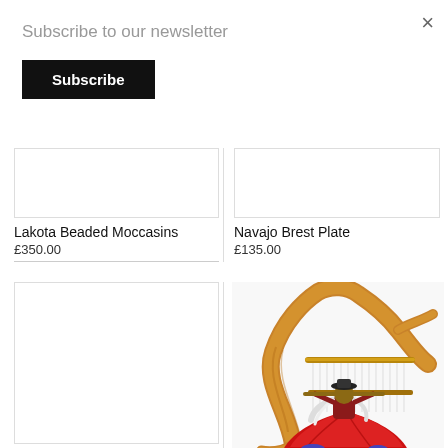×
Subscribe to our newsletter
Subscribe
[Figure (other): Empty white product image placeholder box for Lakota Beaded Moccasins]
[Figure (other): Empty white product image placeholder box for Navajo Brest Plate]
Lakota Beaded Moccasins
£350.00
Navajo Brest Plate
£135.00
[Figure (other): Empty white product image placeholder box (second row, left)]
[Figure (photo): A Navajo woman figure in red dress sitting at a traditional loom made from curved driftwood branches, weaving. The figure has long white hair and wears a black hat. The loom has strings and a weaving rod.]